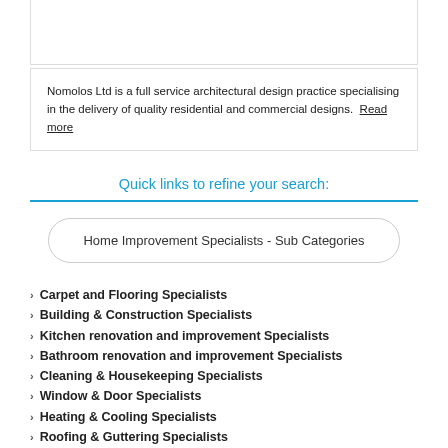Nomolos Ltd is a full service architectural design practice specialising in the delivery of quality residential and commercial designs. Read more
Quick links to refine your search:
Home Improvement Specialists - Sub Categories
Carpet and Flooring Specialists
Building & Construction Specialists
Kitchen renovation and improvement Specialists
Bathroom renovation and improvement Specialists
Cleaning & Housekeeping Specialists
Window & Door Specialists
Heating & Cooling Specialists
Roofing & Guttering Specialists